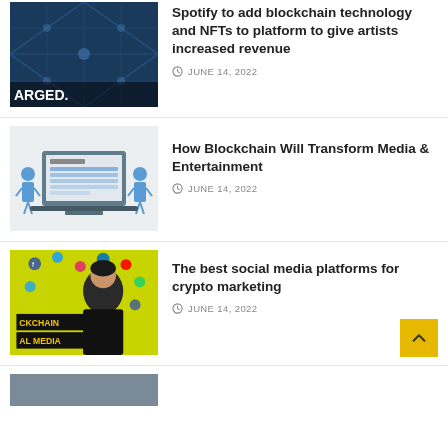[Figure (photo): Dark blue blockchain/technology image with 'ARGED.' text overlay at the bottom]
Spotify to add blockchain technology and NFTs to platform to give artists increased revenue
JUNE 14, 2022
[Figure (illustration): Light gray background image showing a laptop with a form/survey interface and cartoon people figures on the sides]
How Blockchain Will Transform Media & Entertainment
JUNE 14, 2022
[Figure (photo): Yellow-green background with a man in black shirt, text overlays reading 'CKCHAIN' and 'AL MEDIA' and social media icons]
The best social media platforms for crypto marketing
JUNE 14, 2022
[Figure (photo): Partial thumbnail at bottom of page, cropped]